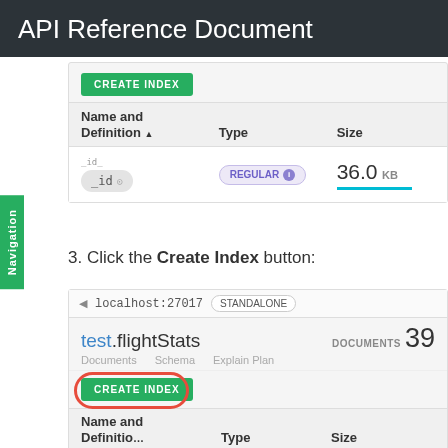API Reference Document
[Figure (screenshot): Screenshot showing a CREATE INDEX button and a table with columns Name and Definition, Type, Size. A row shows _id field with REGULAR type and 36.0 KB size with a cyan progress bar.]
3. Click the Create Index button:
[Figure (screenshot): Screenshot showing localhost:27017 STANDALONE address bar, test.flightStats database with DOCUMENTS 39, tabs for Documents, Schema, Explain Plan, a CREATE INDEX button circled in red, and table headers Name and Definition, Type, Size.]